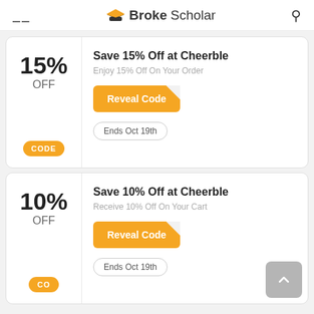BrokeScholar
15% OFF - Save 15% Off at Cheerble - Enjoy 15% Off On Your Order - Reveal Code - Ends Oct 19th - CODE
10% OFF - Save 10% Off at Cheerble - Receive 10% Off On Your Cart - Reveal Code - Ends Oct 19th